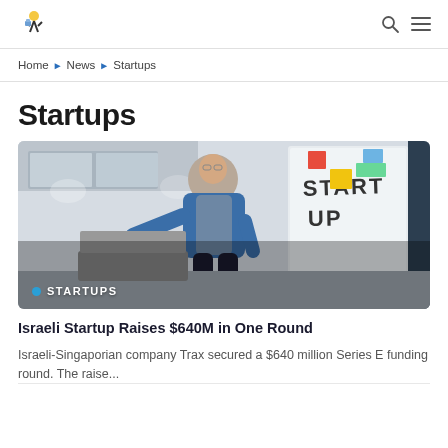[Logo] [Search icon] [Menu icon]
Home ▶ News ▶ Startups
Startups
[Figure (photo): Person in blue denim shirt presenting in front of a whiteboard with 'START UP' written on it, with colorful sticky notes. Label overlay reads '• STARTUPS'.]
Israeli Startup Raises $640M in One Round
Israeli-Singaporian company Trax secured a $640 million Series E funding round. The raise...